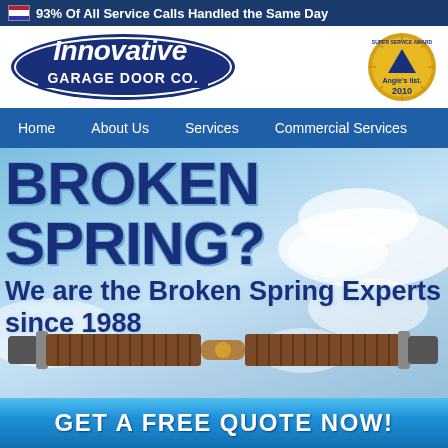93% Of All Service Calls Handled the Same Day
[Figure (logo): Innovative Garage Door Co. logo in dark blue with italic text]
[Figure (logo): Angie's List Super Service Award 2010 badge in gold]
Home
About Us
Services
Commercial Services
[Figure (photo): Hero banner with sky background showing a broken garage door spring with bold text overlaid: BROKEN SPRING? We are the Broken Spring Experts since 1988]
BROKEN SPRING?
We are the Broken Spring Experts since 1988
GET A FREE QUOTE NOW!